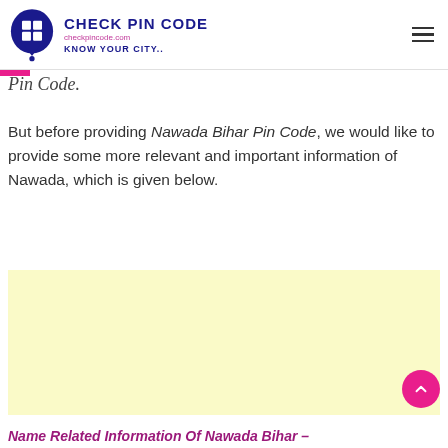Check Pin Code | checkpincode.com | Know Your City..
Pin Code.
But before providing Nawada Bihar Pin Code, we would like to provide some more relevant and important information of Nawada, which is given below.
[Figure (other): Advertisement placeholder box with light yellow background]
Name Related Information Of Nawada Bihar –